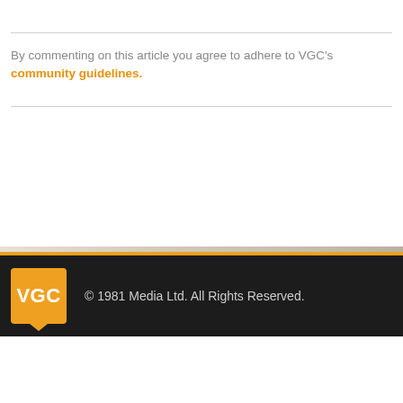By commenting on this article you agree to adhere to VGC's community guidelines.
© 1981 Media Ltd. All Rights Reserved.